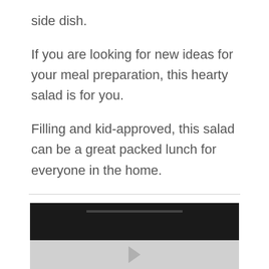side dish.
If you are looking for new ideas for your meal preparation, this hearty salad is for you.
Filling and kid-approved, this salad can be a great packed lunch for everyone in the home.
[Figure (screenshot): Bottom portion of a video player embedded in the page, showing a dark top bar with a thin horizontal stripe, and a light grey bottom area with a play button arrow icon.]